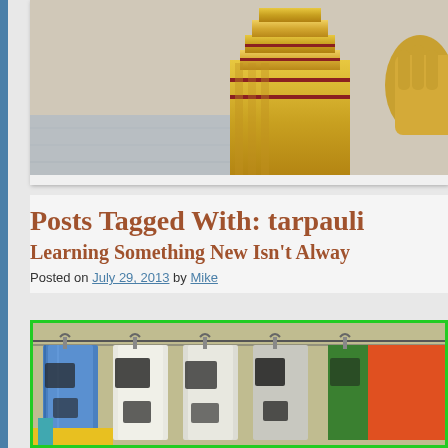[Figure (photo): Photo of a Buddhist temple with golden ornate decorations and a golden Buddha statue visible, with marble floor in foreground]
Posts Tagged With: tarpaulin
Learning Something New Isn't Always
Posted on July 29, 2013 by Mike
[Figure (photo): Photo of colorful tarpaulins or tarps hanging on a rack, including blue, white/black, and green/orange ones]